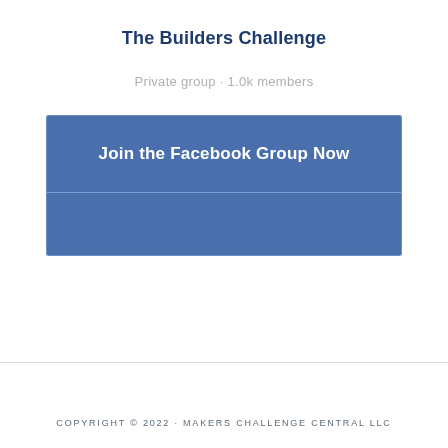The Builders Challenge
Private group · 1.0k members
[Figure (screenshot): Facebook group join button with blue background showing 'Join the Facebook Group Now' text]
COPYRIGHT © 2022 · MAKERS CHALLENGE CENTRAL LLC